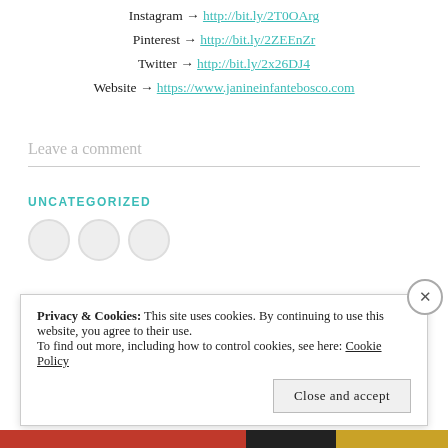Instagram → http://bit.ly/2T0OArg
Pinterest → http://bit.ly/2ZEEnZr
Twitter → http://bit.ly/2x26DJ4
Website → https://www.janineinfantebosco.com
Leave a comment
UNCATEGORIZED
Privacy & Cookies: This site uses cookies. By continuing to use this website, you agree to their use.
To find out more, including how to control cookies, see here: Cookie Policy